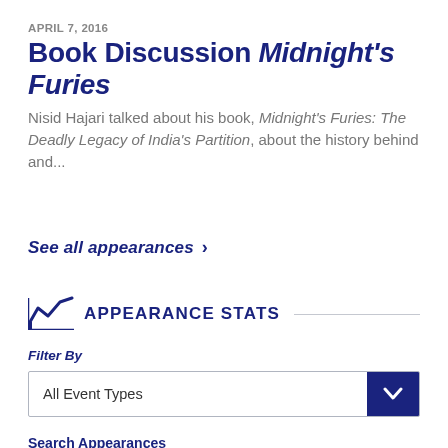APRIL 7, 2016
Book Discussion Midnight's Furies
Nisid Hajari talked about his book, Midnight's Furies: The Deadly Legacy of India's Partition, about the history behind and...
See all appearances >
APPEARANCE STATS
Filter By
All Event Types
Search Appearances